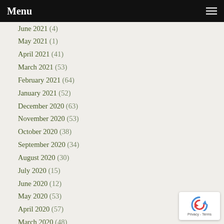Menu
June 2021 (4)
May 2021 (1)
April 2021 (41)
March 2021 (53)
February 2021 (64)
January 2021 (52)
December 2020 (63)
November 2020 (53)
October 2020 (38)
September 2020 (34)
August 2020 (30)
July 2020 (15)
June 2020 (12)
May 2020 (53)
April 2020 (57)
March 2020 (48)
February 2020 (47)
January 2020 (37)
December 2019 (38)